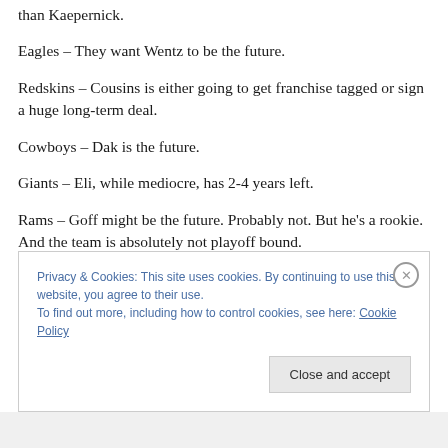than Kaepernick.
Eagles – They want Wentz to be the future.
Redskins – Cousins is either going to get franchise tagged or sign a huge long-term deal.
Cowboys – Dak is the future.
Giants – Eli, while mediocre, has 2-4 years left.
Rams – Goff might be the future. Probably not. But he's a rookie. And the team is absolutely not playoff bound.
Privacy & Cookies: This site uses cookies. By continuing to use this website, you agree to their use.
To find out more, including how to control cookies, see here: Cookie Policy
Close and accept